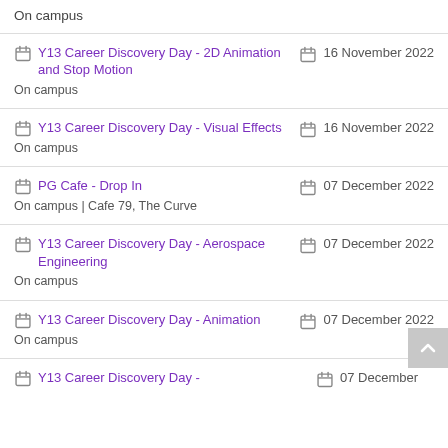On campus
Y13 Career Discovery Day - 2D Animation and Stop Motion
On campus
16 November 2022
Y13 Career Discovery Day - Visual Effects
On campus
16 November 2022
PG Cafe - Drop In
On campus | Cafe 79, The Curve
07 December 2022
Y13 Career Discovery Day - Aerospace Engineering
On campus
07 December 2022
Y13 Career Discovery Day - Animation
On campus
07 December 2022
Y13 Career Discovery Day -
07 December 2022